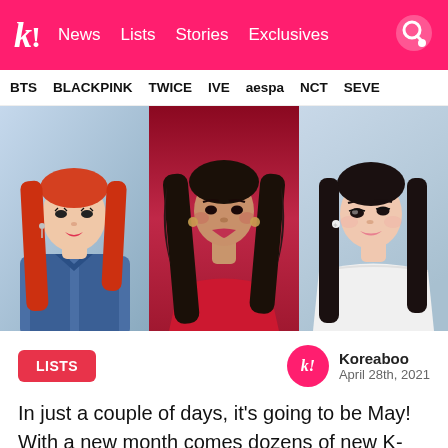k! News Lists Stories Exclusives
BTS BLACKPINK TWICE IVE aespa NCT SEVE
[Figure (photo): Three K-Pop female idols side by side: left idol with red/orange hair in denim jacket, center idol with dark wavy hair in red outfit, right idol with dark hair in white lace outfit]
LISTS
Koreaboo
April 28th, 2021
In just a couple of days, it's going to be May! With a new month comes dozens of new K-Pop idol birthdays to look forward to, and the fifth